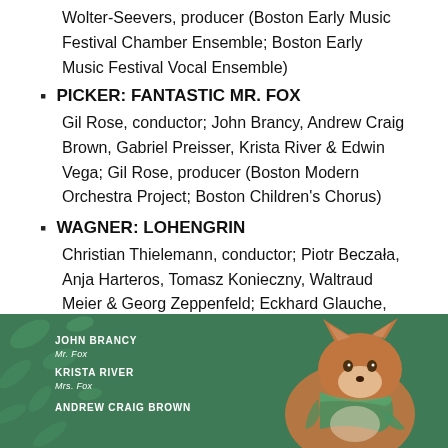Wolter-Seevers, producer (Boston Early Music Festival Chamber Ensemble; Boston Early Music Festival Vocal Ensemble)
PICKER: FANTASTIC MR. FOX
Gil Rose, conductor; John Brancy, Andrew Craig Brown, Gabriel Preisser, Krista River & Edwin Vega; Gil Rose, producer (Boston Modern Orchestra Project; Boston Children's Chorus)
WAGNER: LOHENGRIN
Christian Thielemann, conductor; Piotr Beczała, Anja Harteros, Tomasz Konieczny, Waltraud Meier & Georg Zeppenfeld; Eckhard Glauche, producer (Festspielorchester Bayreuth; Festspielchor Bayreuth)
[Figure (illustration): Album cover for Fantastic Mr. Fox showing a fox illustration with a green scarf on a dark green background. Text listing cast: JOHN BRANCY as Mr. Fox, KRISTA RIVER as Mrs. Fox, ANDREW CRAIG BROWN.]